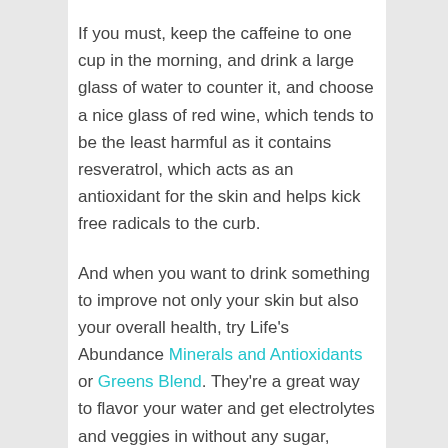If you must, keep the caffeine to one cup in the morning, and drink a large glass of water to counter it, and choose a nice glass of red wine, which tends to be the least harmful as it contains resveratrol, which acts as an antioxidant for the skin and helps kick free radicals to the curb.
And when you want to drink something to improve not only your skin but also your overall health, try Life's Abundance Minerals and Antioxidants or Greens Blend. They're a great way to flavor your water and get electrolytes and veggies in without any sugar, alcohol, or caffeine. Instead of crashing 30 minutes later, like most "health" drinks, these will give you sustained energy and get your skin glowing.